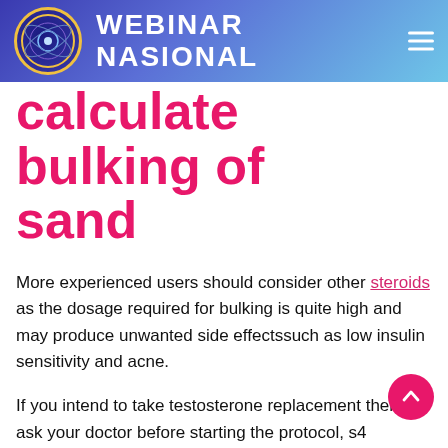WEBINAR NASIONAL
calculate bulking of sand
More experienced users should consider other steroids as the dosage required for bulking is quite high and may produce unwanted side effectssuch as low insulin sensitivity and acne.
If you intend to take testosterone replacement therapy, ask your doctor before starting the protocol, s4 andarine avis. Although testosterone is generally well tolerated, it has the following risks:
increased risk of blood clotting